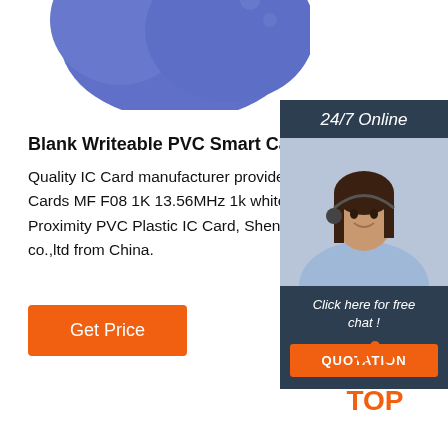[Figure (illustration): Blue blob/oval shape at the top of the page, partially cropped]
Blank Writeable PVC Smart Cards MF F08 1K 13.56
Quality IC Card manufacturer provide Blank Writeable Smart Cards MF F08 1K 13.56MHz 1k white Access Control Proximity PVC Plastic IC Card, Shenzhen lex smart co.,ltd from China.
[Figure (infographic): Right-side panel with dark background showing '24/7 Online' text, a photo of a woman with headset, 'Click here for free chat!' text, and an orange QUOTATION button]
[Figure (other): Orange Get Price button]
[Figure (logo): TOP logo with orange dots arranged in triangle pattern above the text TOP in orange]